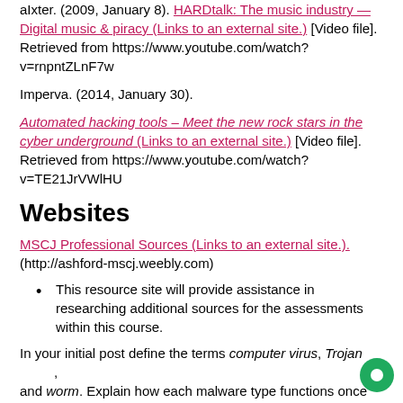aIxter. (2009, January 8). HARDtalk: The music industry — Digital music & piracy (Links to an external site.) [Video file]. Retrieved from https://www.youtube.com/watch?v=rnpntZLnF7w
Imperva. (2014, January 30).
Automated hacking tools – Meet the new rock stars in the cyber underground (Links to an external site.) [Video file]. Retrieved from https://www.youtube.com/watch?v=TE21JrVWlHU
Websites
MSCJ Professional Sources (Links to an external site.). (http://ashford-mscj.weebly.com)
This resource site will provide assistance in researching additional sources for the assessments within this course.
In your initial post define the terms computer virus, Trojan and worm. Explain how each malware type functions once